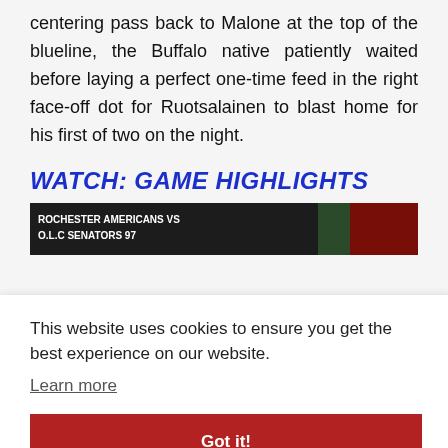centering pass back to Malone at the top of the blueline, the Buffalo native patiently waited before laying a perfect one-time feed in the right face-off dot for Ruotsalainen to blast home for his first of two on the night.
WATCH: GAME HIGHLIGHTS
[Figure (screenshot): Hockey game highlights video thumbnail showing scoreboard text and players on ice]
This website uses cookies to ensure you get the best experience on our website.
Learn more
Got it!
The power-play tally was the Amerks first